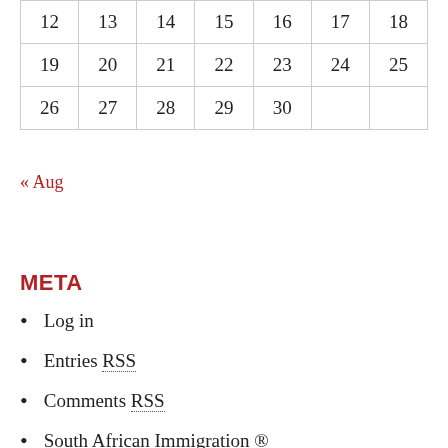| 12 | 13 | 14 | 15 | 16 | 17 | 18 |
| 19 | 20 | 21 | 22 | 23 | 24 | 25 |
| 26 | 27 | 28 | 29 | 30 |  |  |
« Aug
META
Log in
Entries RSS
Comments RSS
South African Immigration ®